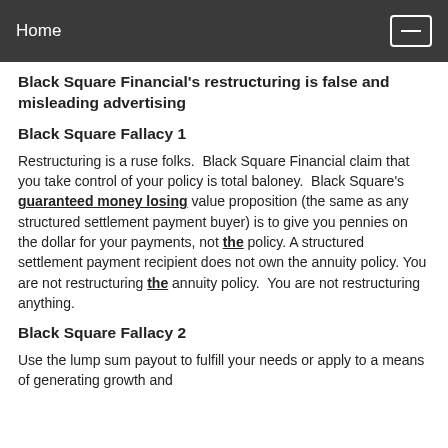Home
Black Square Financial's restructuring is false and misleading advertising
Black Square Fallacy 1
Restructuring is a ruse folks. Black Square Financial claim that you take control of your policy is total baloney. Black Square's guaranteed money losing value proposition (the same as any structured settlement payment buyer) is to give you pennies on the dollar for your payments, not the policy. A structured settlement payment recipient does not own the annuity policy. You are not restructuring the annuity policy. You are not restructuring anything.
Black Square Fallacy 2
Use the lump sum payout to fulfill your needs or apply to a means of generating growth and